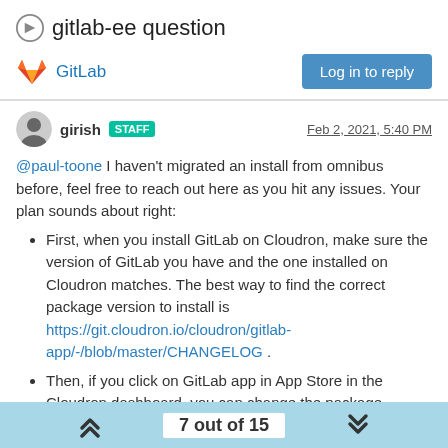gitlab-ee question
GitLab
girish STAFF  Feb 2, 2021, 5:40 PM
@paul-toone I haven't migrated an install from omnibus before, feel free to reach out here as you hit any issues. Your plan sounds about right:
First, when you install GitLab on Cloudron, make sure the version of GitLab you have and the one installed on Cloudron matches. The best way to find the correct package version to install is https://git.cloudron.io/cloudron/gitlab-app/-/blob/master/CHANGELOG .
Then, if you click on GitLab app in App Store in the Cloudron dashboard, you can change the package version in the URL bar.
Then, import postgres - https://docs.cloudron.io/guides/import-postgresql/
7 out of 15